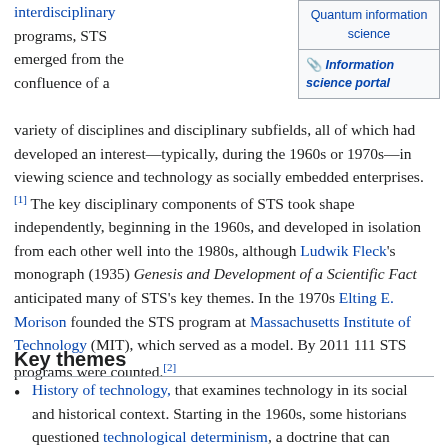interdisciplinary programs, STS emerged from the confluence of a variety of disciplines and disciplinary subfields, all of which had developed an interest—typically, during the 1960s or 1970s—in viewing science and technology as socially embedded enterprises. [1] The key disciplinary components of STS took shape independently, beginning in the 1960s, and developed in isolation from each other well into the 1980s, although Ludwik Fleck's monograph (1935) Genesis and Development of a Scientific Fact anticipated many of STS's key themes. In the 1970s Elting E. Morison founded the STS program at Massachusetts Institute of Technology (MIT), which served as a model. By 2011 111 STS programs were counted.[2]
| Quantum information science |
| Information science portal |
Key themes
History of technology, that examines technology in its social and historical context. Starting in the 1960s, some historians questioned technological determinism, a doctrine that can